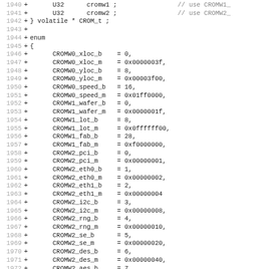Code diff snippet showing C enum definitions for CROMW register bit fields, lines 1940-1971